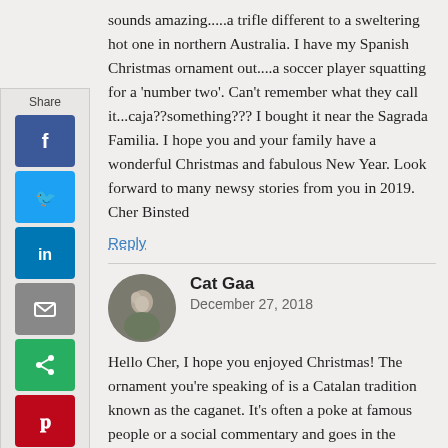sounds amazing.....a trifle different to a sweltering hot one in northern Australia. I have my Spanish Christmas ornament out....a soccer player squatting for a 'number two'. Can't remember what they call it...caja??something??? I bought it near the Sagrada Familia. I hope you and your family have a wonderful Christmas and fabulous New Year. Look forward to many newsy stories from you in 2019. Cher Binsted
Reply
Cat Gaa
December 27, 2018
Hello Cher, I hope you enjoyed Christmas! The ornament you're speaking of is a Catalan tradition known as the caganet. It's often a poke at famous people or a social commentary and goes in the corner of the nativity scene. They also have a hollow log that poops out presents!
Reply